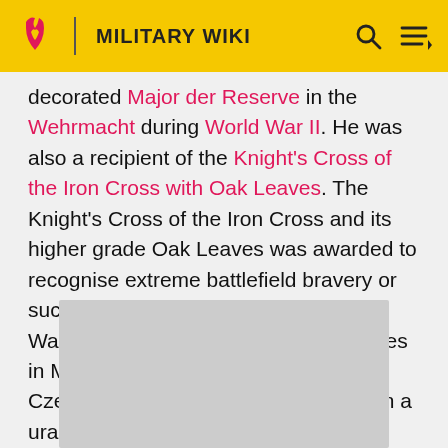MILITARY WIKI
decorated Major der Reserve in the Wehrmacht during World War II. He was also a recipient of the Knight's Cross of the Iron Cross with Oak Leaves. The Knight's Cross of the Iron Cross and its higher grade Oak Leaves was awarded to recognise extreme battlefield bravery or successful military leadership. Karl Wanka was captured by American forces in May 1945, he was handed over to Czech forces and was forced to work in a uranium mine until 1956.
[Figure (photo): Gray placeholder image area]